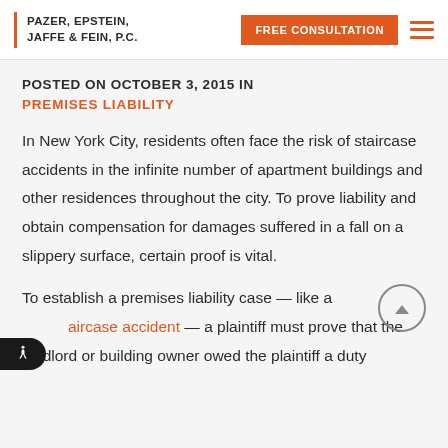PAZER, EPSTEIN, JAFFE & FEIN, P.C. | FREE CONSULTATION
POSTED ON OCTOBER 3, 2015 IN
PREMISES LIABILITY
In New York City, residents often face the risk of staircase accidents in the infinite number of apartment buildings and other residences throughout the city. To prove liability and obtain compensation for damages suffered in a fall on a slippery surface, certain proof is vital.
To establish a premises liability case — like a staircase accident — a plaintiff must prove that the landlord or building owner owed the plaintiff a duty